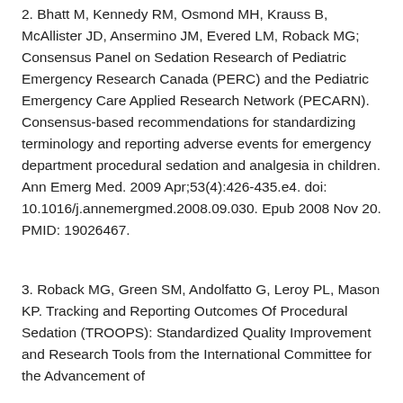2. Bhatt M, Kennedy RM, Osmond MH, Krauss B, McAllister JD, Ansermino JM, Evered LM, Roback MG; Consensus Panel on Sedation Research of Pediatric Emergency Research Canada (PERC) and the Pediatric Emergency Care Applied Research Network (PECARN). Consensus-based recommendations for standardizing terminology and reporting adverse events for emergency department procedural sedation and analgesia in children. Ann Emerg Med. 2009 Apr;53(4):426-435.e4. doi: 10.1016/j.annemergmed.2008.09.030. Epub 2008 Nov 20. PMID: 19026467.
3. Roback MG, Green SM, Andolfatto G, Leroy PL, Mason KP. Tracking and Reporting Outcomes Of Procedural Sedation (TROOPS): Standardized Quality Improvement and Research Tools from the International Committee for the Advancement of...